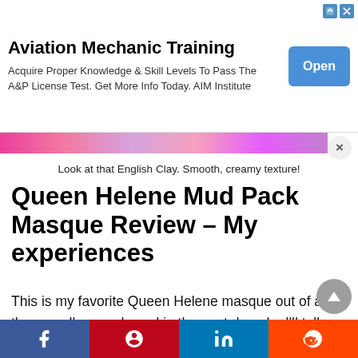[Figure (screenshot): Advertisement banner for Aviation Mechanic Training with Open button]
Look at that English Clay. Smooth, creamy texture!
Queen Helene Mud Pack Masque Review – My experiences
This is my favorite Queen Helene masque out of all the ones I've purchased in the past decade. I'll tell you why! Now that I'm in my thirties, I want a mask that nourishes my face and helps prevent
[Figure (screenshot): Social sharing bar with Facebook, Pinterest, LinkedIn and Reddit buttons]